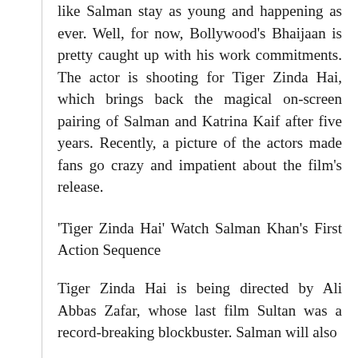like Salman stay as young and happening as ever. Well, for now, Bollywood's Bhaijaan is pretty caught up with his work commitments. The actor is shooting for Tiger Zinda Hai, which brings back the magical on-screen pairing of Salman and Katrina Kaif after five years. Recently, a picture of the actors made fans go crazy and impatient about the film's release.
'Tiger Zinda Hai' Watch Salman Khan's First Action Sequence
Tiger Zinda Hai is being directed by Ali Abbas Zafar, whose last film Sultan was a record-breaking blockbuster. Salman will also